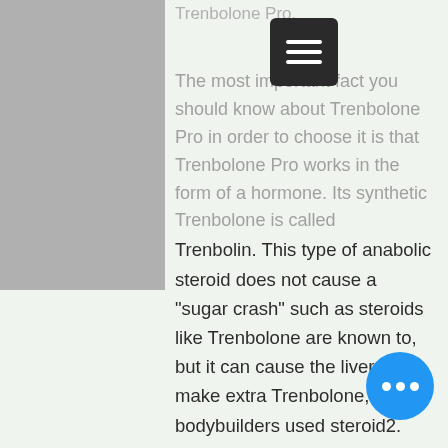Trenbolone Pro.
The most important fact you should know about Trenbolone Pro in order to choose it is that Trenbolone Pro works in the form of a hormone. Its synthetic Trenbolone is called Trenbolin. This type of anabolic steroid does not cause a "sugar crash" such as steroids like Trenbolone are known to, but it can cause the liver to make extra Trenbolone, by bodybuilders used steroid2.
Trenbolone Pro can be purchased in any supplement shop, by bodybuilders used steroid3.
The Crazybulk growth hormone stack is the combo pack of five muscle building supplements in which you get the effect of entire anabolic steroid without any side effects.